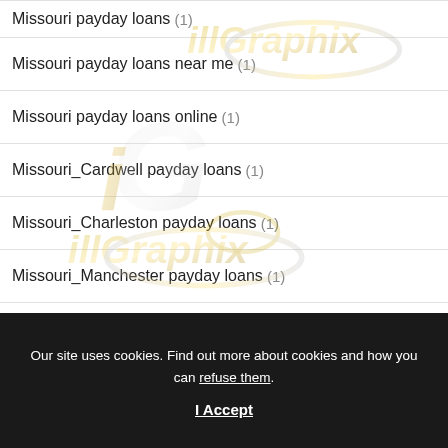Missouri payday loans (1)
Missouri payday loans near me (1)
Missouri payday loans online (1)
Missouri_Cardwell payday loans (1)
Missouri_Charleston payday loans (1)
Missouri_Manchester payday loans (1)
missouri-st-louis-dating dating (1)
Our site uses cookies. Find out more about cookies and how you can refuse them.
I Accept